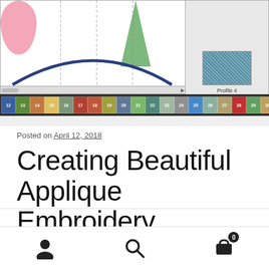[Figure (screenshot): Embroidery software interface showing a design canvas with pink shape, green tree, a navy blue arch, dashed guide lines, and a thread profile side panel. Below the canvas is a color strip showing numbered thread color boxes from 12 to 32.]
Posted on April 12, 2018
Creating Beautiful Applique Embroidery
[Figure (other): Bottom navigation bar with three icons: user/account icon, search icon, and shopping cart icon with badge showing 0]